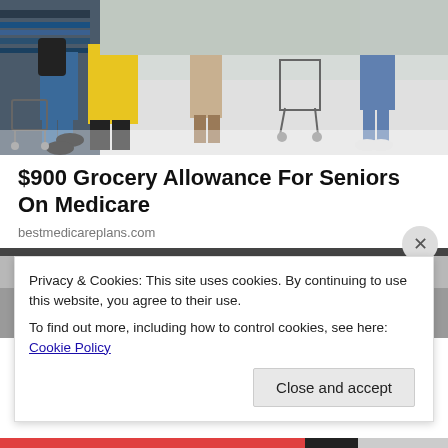[Figure (photo): People shopping in a store aisle, pushing shopping carts. One person in a yellow jacket is prominent in the foreground.]
$900 Grocery Allowance For Seniors On Medicare
bestmedicareplans.com
[Figure (photo): Social Security Administration building exterior with large sign reading 'SOCIAL SECURITY ADMINISTRATION', with red bollards in front.]
Privacy & Cookies: This site uses cookies. By continuing to use this website, you agree to their use.
To find out more, including how to control cookies, see here: Cookie Policy
Close and accept